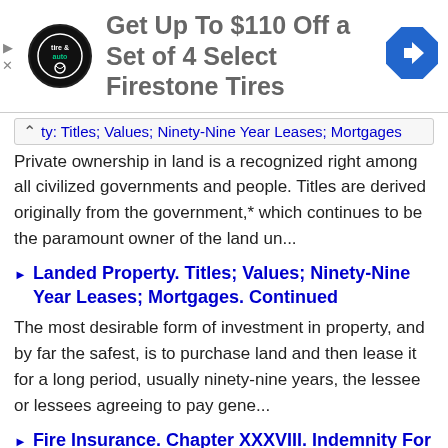[Figure (advertisement): Ad banner: Firestone tire & auto logo (circular black badge), text 'Get Up To $110 Off a Set of 4 Select Firestone Tires', blue diamond navigation arrow icon on right. Ad control icons (play/close) on left edge.]
ty: Titles; Values; Ninety-Nine Year Leases; Mortgages
Private ownership in land is a recognized right among all civilized governments and people. Titles are derived originally from the government,* which continues to be the paramount owner of the land un...
Landed Property. Titles; Values; Ninety-Nine Year Leases; Mortgages. Continued
The most desirable form of investment in property, and by far the safest, is to purchase land and then lease it for a long period, usually ninety-nine years, the lessee or lessees agreeing to pay gene...
Fire Insurance. Chapter XXXVIII. Indemnity For Loss By Fire. History; Classes Of Companies; Risks; Rates
In the Wealth of Nations the author* expresses the philosophy and purpose of fire insurance in the following: The trade of insurance gives great security to the fortunes of private people, and by...